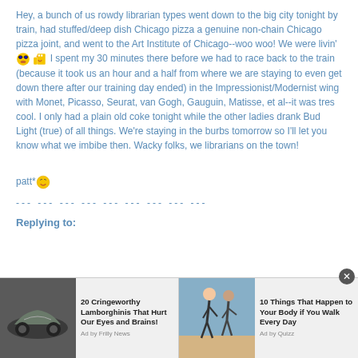Hey, a bunch of us rowdy librarian types went down to the big city tonight by train, had stuffed/deep dish Chicago pizza a genuine non-chain Chicago pizza joint, and went to the Art Institute of Chicago--woo woo! We were livin' 😎👍 I spent my 30 minutes there before we had to race back to the train (because it took us an hour and a half from where we are staying to even get down there after our training day ended) in the Impressionist/Modernist wing with Monet, Picasso, Seurat, van Gogh, Gauguin, Matisse, et al--it was tres cool. I only had a plain old coke tonight while the other ladies drank Bud Light (true) of all things. We're staying in the burbs tomorrow so I'll let you know what we imbibe then. Wacky folks, we librarians on the town!
patt* 😊
--- --- --- --- --- --- --- --- ---
Replying to:
[Figure (screenshot): Ad bar with two ads: '20 Cringeworthy Lamborghinis That Hurt Our Eyes and Brains!' by Frilly News, and '10 Things That Happen to Your Body if You Walk Every Day' by Ad by Quizz]